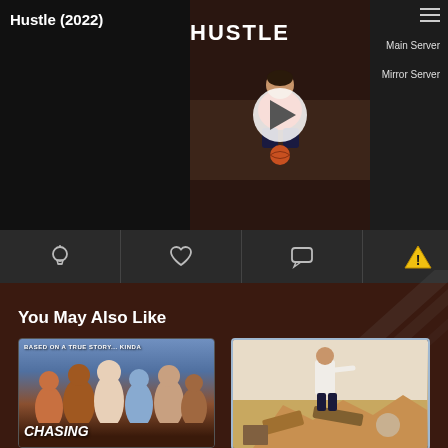Hustle (2022)
Main Server
Mirror Server
[Figure (screenshot): Video player showing Hustle (2022) movie with play button, server selection menu with Main Server and Mirror Server options, and icon bar with lightbulb, heart, comment icons and warning icon]
You May Also Like
[Figure (photo): Movie poster for Chasing - Based on a True Story... Kinda, showing group of athletes]
[Figure (photo): Movie poster showing a man in white suit standing on debris]